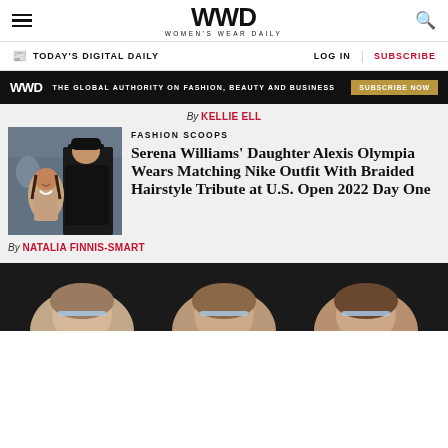WWD — Women's Wear Daily
TODAY'S DIGITAL DAILY  LOG IN  SUBSCRIBE
WWD — THE GLOBAL AUTHORITY ON FASHION, BEAUTY AND BUSINESS — SUBSCRIBE NOW
By KELLIE ELL
FASHION SCOOPS
Serena Williams' Daughter Alexis Olympia Wears Matching Nike Outfit With Braided Hairstyle Tribute at U.S. Open 2022 Day One
By NATALIA FINNIS-SMART
[Figure (photo): Photo of a young girl and a man in a black cap and jacket at an event, and a bottom strip showing three faces against a dark background]